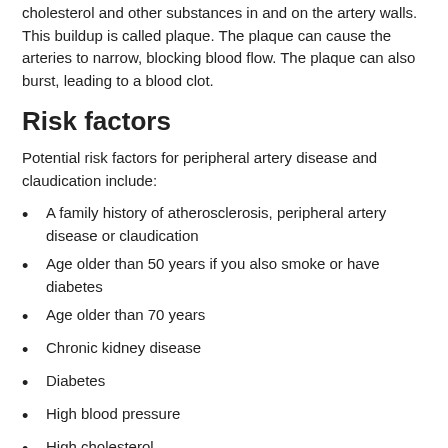cholesterol and other substances in and on the artery walls. This buildup is called plaque. The plaque can cause the arteries to narrow, blocking blood flow. The plaque can also burst, leading to a blood clot.
Risk factors
Potential risk factors for peripheral artery disease and claudication include:
A family history of atherosclerosis, peripheral artery disease or claudication
Age older than 50 years if you also smoke or have diabetes
Age older than 70 years
Chronic kidney disease
Diabetes
High blood pressure
High cholesterol
Obesity (a body mass index, or BMI, over 30)